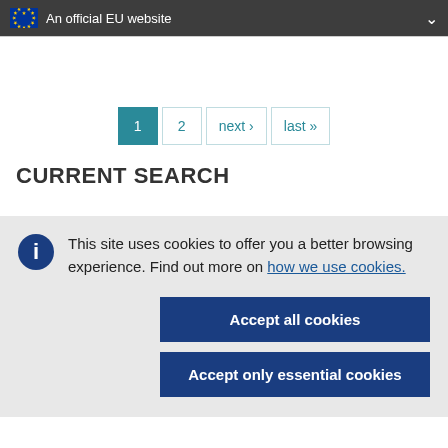An official EU website
1  2  next ›  last »
CURRENT SEARCH
This site uses cookies to offer you a better browsing experience. Find out more on how we use cookies.
Accept all cookies
Accept only essential cookies